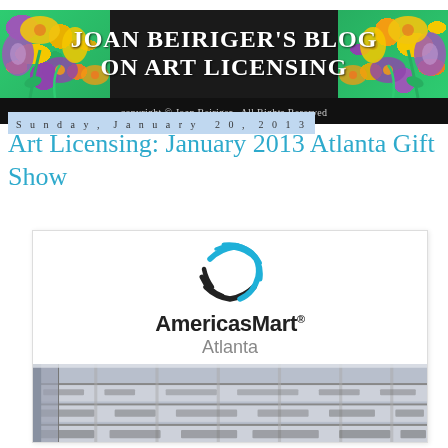JOAN BEIRIGER'S BLOG ON ART LICENSING — copyright © Joan Beiriger  All Rights Reserved
Sunday, January 20, 2013
Art Licensing: January 2013 Atlanta Gift Show
[Figure (logo): AmericasMart Atlanta logo with globe icon showing blue and black stripes, company name 'AmericasMart®' in bold black text and 'Atlanta' in gray below]
[Figure (photo): Interior photo of AmericasMart Atlanta building showing multiple floors/balconies filled with people at a trade show]